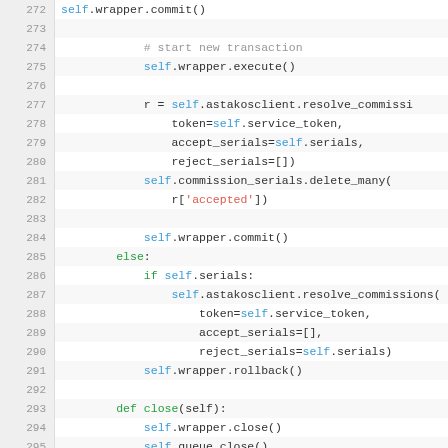Source code listing lines 272-298, Python syntax highlighted